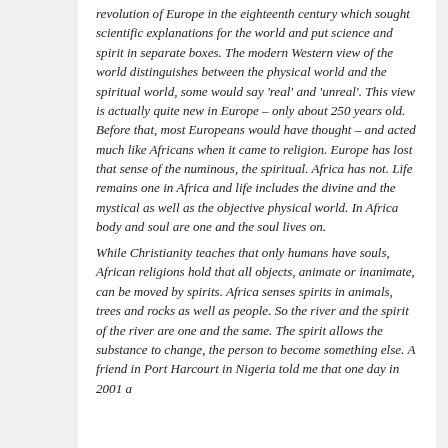revolution of Europe in the eighteenth century which sought scientific explanations for the world and put science and spirit in separate boxes. The modern Western view of the world distinguishes between the physical world and the spiritual world, some would say 'real' and 'unreal'. This view is actually quite new in Europe – only about 250 years old. Before that, most Europeans would have thought – and acted much like Africans when it came to religion. Europe has lost that sense of the numinous, the spiritual. Africa has not. Life remains one in Africa and life includes the divine and the mystical as well as the objective physical world. In Africa body and soul are one and the soul lives on. While Christianity teaches that only humans have souls, African religions hold that all objects, animate or inanimate, can be moved by spirits. Africa senses spirits in animals, trees and rocks as well as people. So the river and the spirit of the river are one and the same. The spirit allows the substance to change, the person to become something else. A friend in Port Harcourt in Nigeria told me that one day in 2001 a